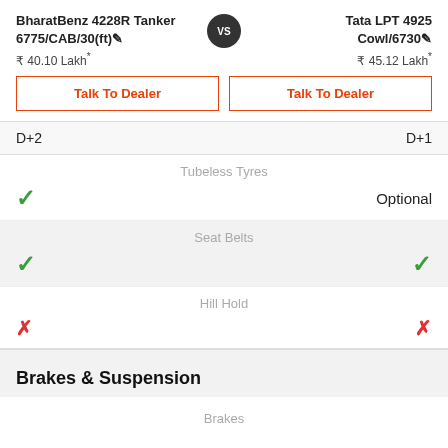BharatBenz 4228R Tanker 6775/CAB/30(ft) ₹ 40.10 Lakh*
VS
Tata LPT 4925 Cowl/6730 ₹ 45.12 Lakh*
Talk To Dealer
Talk To Dealer
D+2
D+1
Tubeless Tyres
✓
Optional
Seat Belts
✓
✓
Hill Hold
✗
✗
Brakes & Suspension
Brakes